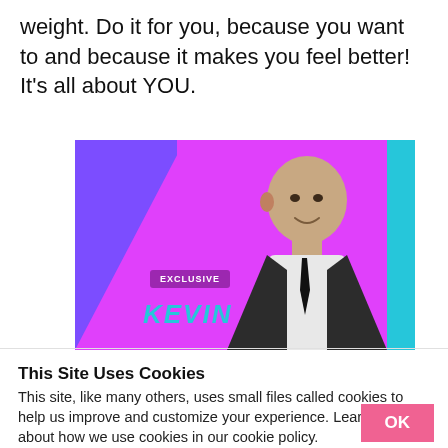weight. Do it for you, because you want to and because it makes you feel better! It's all about YOU.
[Figure (photo): Advertisement banner with purple/magenta background, a bald man in a suit on the right, a purple diagonal section on the left, cyan accent bar on the far right, a close button (X) in the top right corner, an 'EXCLUSIVE' badge, and the text 'KEVIN' in cyan italic letters at the bottom left.]
This Site Uses Cookies
This site, like many others, uses small files called cookies to help us improve and customize your experience. Learn more about how we use cookies in our cookie policy.